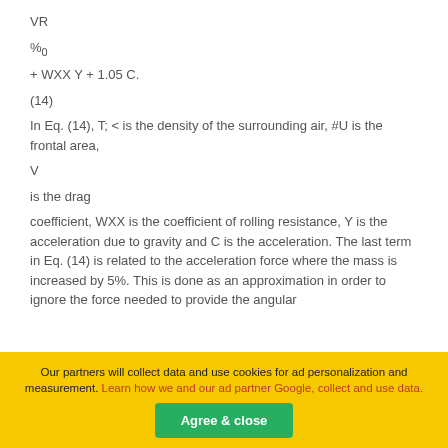VR
%0
(14)
In Eq. (14), T; < is the density of the surrounding air, #U is the frontal area,
V
is the drag
coefficient, WXX is the coefficient of rolling resistance, Y is the acceleration due to gravity and C is the acceleration. The last term in Eq. (14) is related to the acceleration force where the mass is increased by 5%. This is done as an approximation in order to ignore the force needed to provide the angular
Our partners will collect data and use cookies for ad personalization and measurement. Learn how we and our ad partner Google, collect and use data.